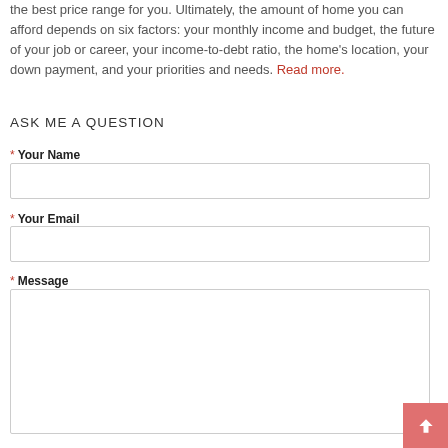the best price range for you. Ultimately, the amount of home you can afford depends on six factors: your monthly income and budget, the future of your job or career, your income-to-debt ratio, the home's location, your down payment, and your priorities and needs. Read more.
ASK ME A QUESTION
* Your Name
* Your Email
* Message